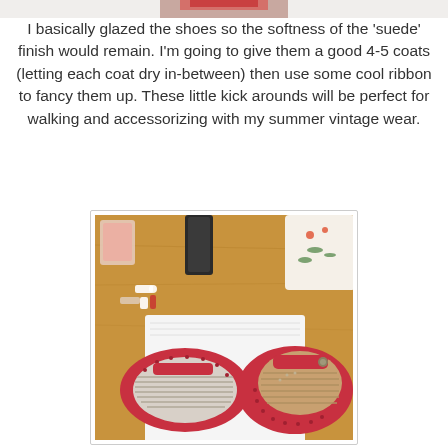[Figure (photo): Partial top strip of an image showing a pink/red item, cropped at the top of the page.]
I basically glazed the shoes so the softness of the 'suede' finish would remain. I'm going to give them a good 4-5 coats (letting each coat dry in-between) then use some cool ribbon to fancy them up. These little kick arounds will be perfect for walking and accessorizing with my summer vintage wear.
[Figure (photo): Photo of two red suede Mary Jane flat shoes laid sole-up/open on a white cloth on a wooden table. Craft supplies and a decorative mug are visible in the background. The shoes have perforated detailing and striped insoles.]